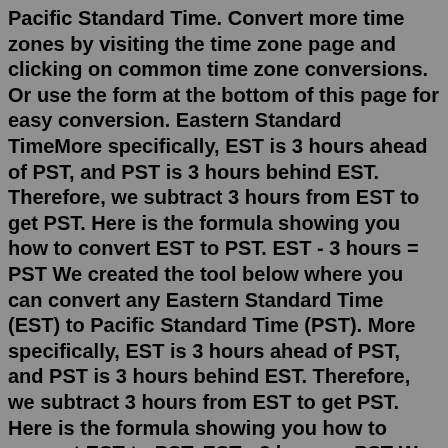Pacific Standard Time. Convert more time zones by visiting the time zone page and clicking on common time zone conversions. Or use the form at the bottom of this page for easy conversion. Eastern Standard TimeMore specifically, EST is 3 hours ahead of PST, and PST is 3 hours behind EST. Therefore, we subtract 3 hours from EST to get PST. Here is the formula showing you how to convert EST to PST. EST - 3 hours = PST We created the tool below where you can convert any Eastern Standard Time (EST) to Pacific Standard Time (PST). More specifically, EST is 3 hours ahead of PST, and PST is 3 hours behind EST. Therefore, we subtract 3 hours from EST to get PST. Here is the formula showing you how to convert EST to PST. EST - 3 hours = PST We created the tool below where you can convert any Eastern Standard Time (EST) to Pacific Standard Time (PST). Time Zone Conversion: CST » EST EST » GMT EST » IST GMT » EST PDT » EST PDT » GMT PST » EST PST » GMT PST » IST. ... Greenwich Mean Time to